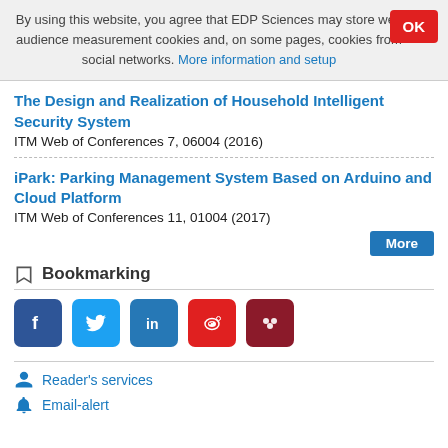By using this website, you agree that EDP Sciences may store web audience measurement cookies and, on some pages, cookies from social networks. More information and setup
The Design and Realization of Household Intelligent Security System
ITM Web of Conferences 7, 06004 (2016)
iPark: Parking Management System Based on Arduino and Cloud Platform
ITM Web of Conferences 11, 01004 (2017)
Bookmarking
[Figure (infographic): Social media bookmarking icons: Facebook (blue), Twitter (light blue), LinkedIn (blue), Weibo (red), Mendeley (dark red)]
Reader's services
Email-alert